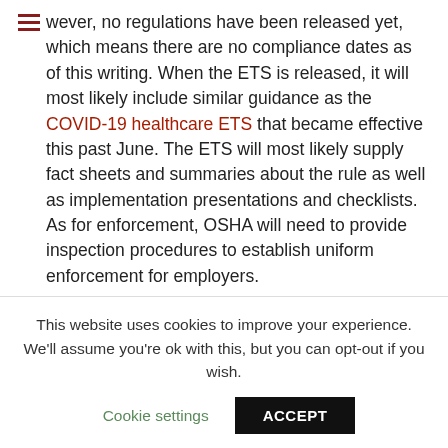however, no regulations have been released yet, which means there are no compliance dates as of this writing. When the ETS is released, it will most likely include similar guidance as the COVID-19 healthcare ETS that became effective this past June. The ETS will most likely supply fact sheets and summaries about the rule as well as implementation presentations and checklists. As for enforcement, OSHA will need to provide inspection procedures to establish uniform enforcement for employers.
OSHA is developing a rule requiring employees to be offered paid time off for vaccination and to recover if they are under the weather post-vaccination.
This website uses cookies to improve your experience. We'll assume you're ok with this, but you can opt-out if you wish.